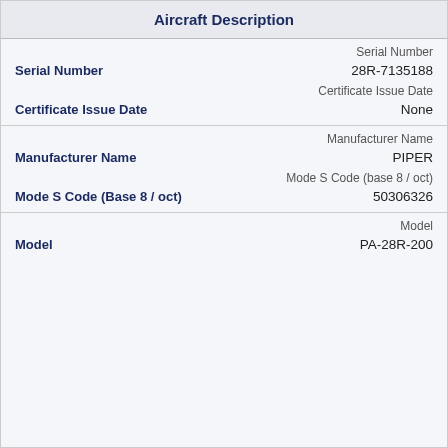Aircraft Description
| Field | Value |
| --- | --- |
| Serial Number | 28R-7135188 |
| Certificate Issue Date | None |
| Manufacturer Name | PIPER |
| Mode S Code (Base 8 / oct) | 50306326 |
| Model | PA-28R-200 |